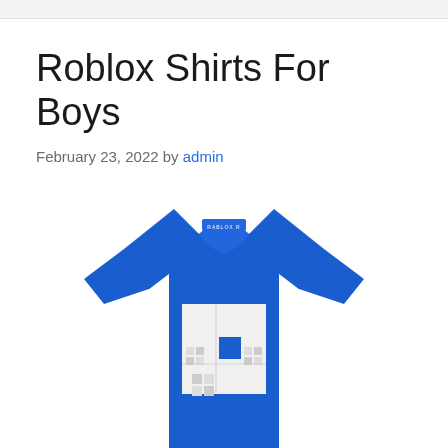Roblox Shirts For Boys
February 23, 2022 by admin
[Figure (photo): A blue Roblox-branded short-sleeve t-shirt for boys photographed on a white background, featuring a white square Roblox character graphic print on the front chest area.]